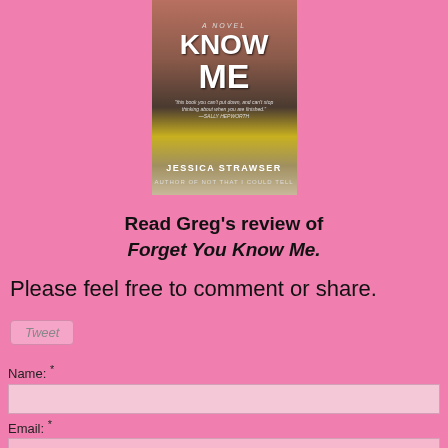[Figure (photo): Book cover of 'Forget You Know Me' a novel by Jessica Strawser, author of Not That I Could Tell. Shows faces of two people partially visible with the title text overlaid.]
Read Greg's review of Forget You Know Me.
Please feel free to comment or share.
Tweet
Name: *
Email: *
Check here to receive email updates